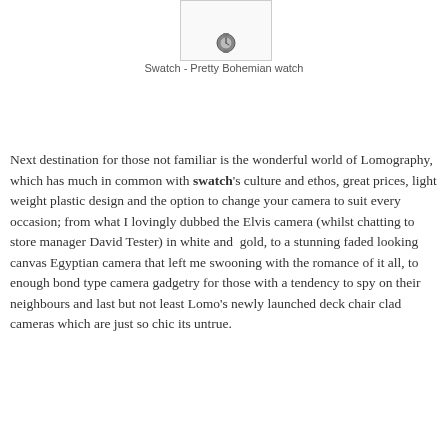[Figure (photo): Small image of a Swatch watch at the top of the page inside a bordered box]
Swatch - Pretty Bohemian watch
Next destination for those not familiar is the wonderful world of Lomography, which has much in common with swatch's culture and ethos, great prices, light weight plastic design and the option to change your camera to suit every occasion; from what I lovingly dubbed the Elvis camera (whilst chatting to store manager David Tester) in white and gold, to a stunning faded looking canvas Egyptian camera that left me swooning with the romance of it all, to enough bond type camera gadgetry for those with a tendency to spy on their neighbours and last but not least Lomo's newly launched deck chair clad cameras which are just so chic its untrue.